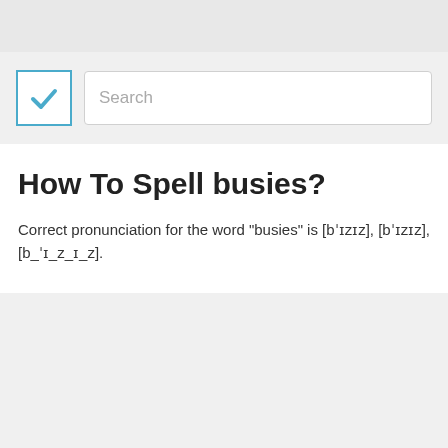[Figure (screenshot): Checkbox with blue checkmark icon]
Search
How To Spell busies?
Correct pronunciation for the word "busies" is [bˈɪ zɪz], [bˈɪzɪz], [b_ˈɪ_z_ɪ_z].